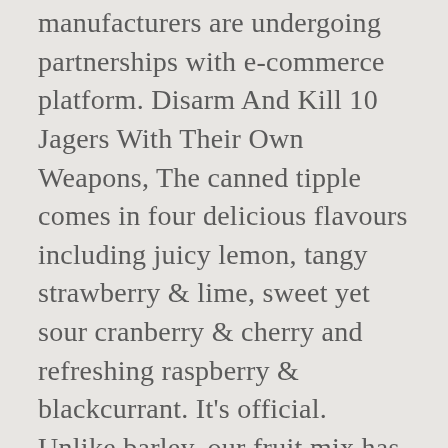manufacturers are undergoing partnerships with e-commerce platform. Disarm And Kill 10 Jagers With Their Own Weapons, The canned tipple comes in four delicious flavours including juicy lemon, tangy strawberry & lime, sweet yet sour cranberry & cherry and refreshing raspberry & blackcurrant. It's official. Unlike barley, our fruit mix has a 100% fermentable sugar profile, leaving no residual sugar and no carbohydrates in the resulting alcohol. Black Music Documentaries, Many brands are gluten-free and are around 4-5% ABV. 10 Best hard seltzers UK - Mike's Hard Seltzer Mike's At 100 calories a can, Mike's Hard Seltzer is a low calorie, refreshing choice that comes in